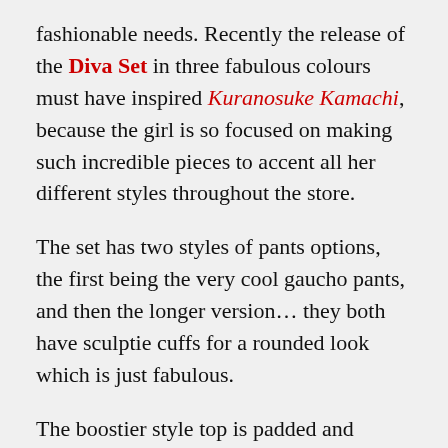fashionable needs. Recently the release of the Diva Set in three fabulous colours must have inspired Kuranosuke Kamachi, because the girl is so focused on making such incredible pieces to accent all her different styles throughout the store.
The set has two styles of pants options, the first being the very cool gaucho pants, and then the longer version… they both have sculptie cuffs for a rounded look which is just fabulous.
The boostier style top is padded and quilted looking and the fabric texture is just wonderful and shiny, with the lovely lariet around the neck dropping between the breasts as a wonderful accessory, this is a great set for smart casual occasions, day time events where you want to look stylish without going too dressy, and can move into night time affairs with ease.